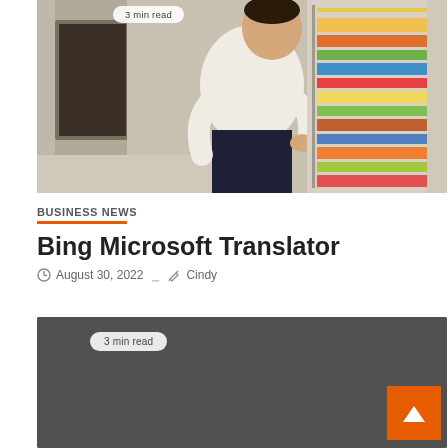[Figure (photo): Man in white long-sleeve shirt browsing colorful postcards or cards displayed on an outdoor rack, with stone wall background]
3 min read
BUSINESS NEWS
Bing Microsoft Translator
August 30, 2022  Cindy
[Figure (photo): Dark gray image placeholder for second article]
3 min read